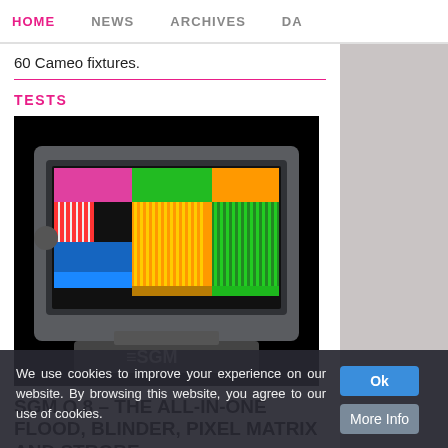HOME  NEWS  ARCHIVES  DA...
60 Cameo fixtures.
TESTS
[Figure (photo): SGM Q.8 LED lighting fixture displaying a rainbow/multi-color pixel matrix pattern on a black background, branded with SGM logo]
SGM Q.8 – THE ALL-IN-ONE FLOOD, BLINDER, PIXEL MATRIX AND STROBE
How do you step up and release a new product to supersede a very successful
We use cookies to improve your experience on our website. By browsing this website, you agree to our use of cookies.